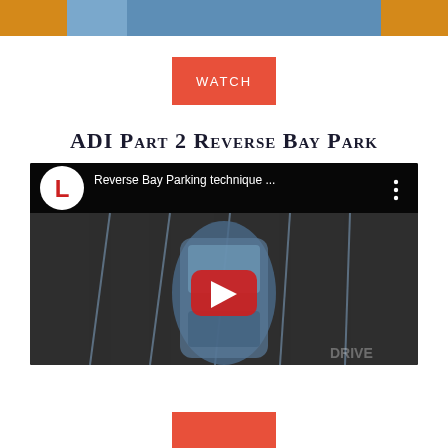[Figure (photo): Top banner showing a person with crossed arms on an orange/yellow background, partially visible at the top of the page]
[Figure (screenshot): Red rectangular WATCH button]
ADI Part 2 Reverse Bay Park
[Figure (screenshot): YouTube video thumbnail showing a top-down view of a car in a parking bay. The video title reads 'Reverse Bay Parking technique ...' with the L-plate driving school logo. A red YouTube play button is centered on the thumbnail.]
[Figure (screenshot): Partially visible red WATCH button at the bottom of the page]